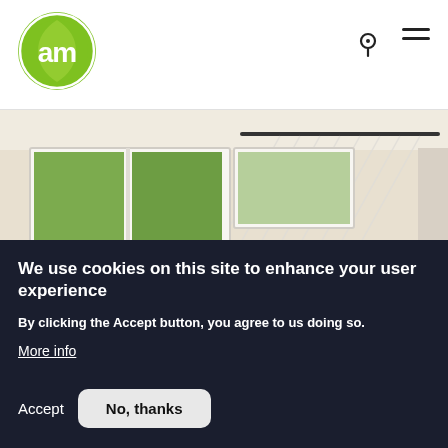[Figure (logo): Circular green logo with white stylized 'am' letters on green background]
[Figure (photo): Interior room photo showing white-framed windows with green trees visible outside, and a curtain track rail on ceiling]
We use cookies on this site to enhance your user experience
By clicking the Accept button, you agree to us doing so.
More info
Accept
No, thanks